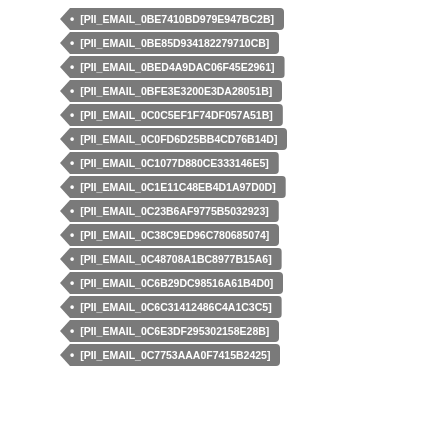[PII_EMAIL_0BE7410BD979E947BC2B]
[PII_EMAIL_0BE85D934182279710CB]
[PII_EMAIL_0BED4A9DAC06F45E2961]
[PII_EMAIL_0BFE3E3200E3DA28051B]
[PII_EMAIL_0C0C5EF1F74DF057A51B]
[PII_EMAIL_0C0FD6D25BB4CD76B14D]
[PII_EMAIL_0C1077D880CE333146E5]
[PII_EMAIL_0C1E11C48EB4D1A97D0D]
[PII_EMAIL_0C23B6AF9775B5032923]
[PII_EMAIL_0C38C9ED96C780685074]
[PII_EMAIL_0C48708A1BC8977B15A6]
[PII_EMAIL_0C6B29DC98516A61B4D0]
[PII_EMAIL_0C6C31412486C4A1C3C5]
[PII_EMAIL_0C6E3DF295302158E28B]
[PII_EMAIL_0C7753AAA0F7415B2425]